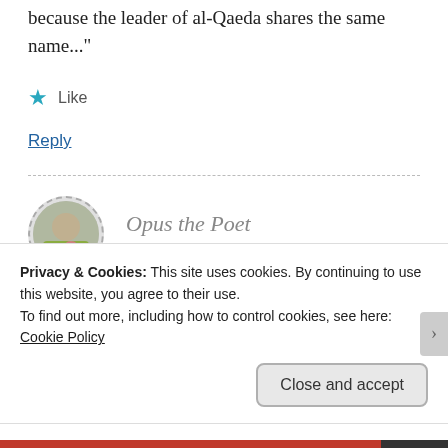because the leader of al-Qaeda shares the same name..."
★ Like
Reply
Opus the Poet
06/10/2013 AT 5:08 PM
Privacy & Cookies: This site uses cookies. By continuing to use this website, you agree to their use. To find out more, including how to control cookies, see here: Cookie Policy
Close and accept